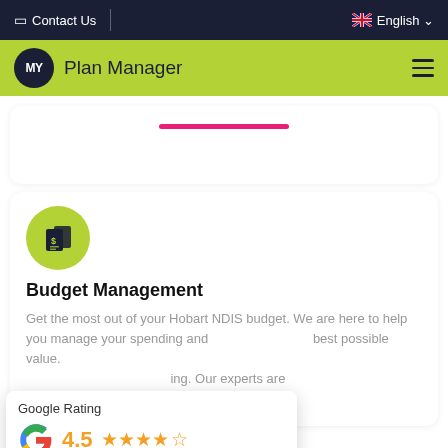Contact Us | English
[Figure (logo): MY Plan Manager logo with green background bar and hamburger menu]
[Figure (illustration): Pink horizontal bar divider]
[Figure (illustration): Green circle with dollar/invoice icon for Budget Management]
Budget Management
Get the most out of your Hobart NDIS budget. We are here to help you manage your spending and get the best possible value. Our experts are here to help.
[Figure (infographic): Google Rating popup showing 4.5 stars based on 292 reviews]
[Figure (illustration): Pink accessibility icon circle bottom right]